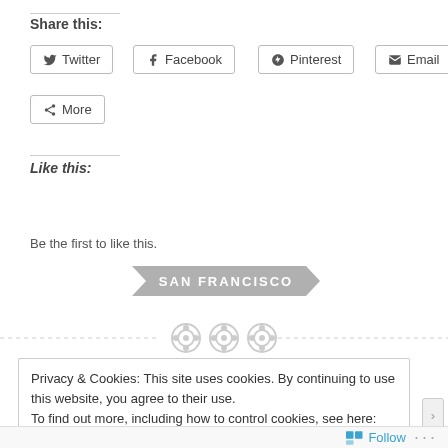Share this:
Twitter
Facebook
Pinterest
Email
More
Like this:
Like
Be the first to like this.
[Figure (infographic): SAN FRANCISCO label in a grey arrow/chevron banner]
[Figure (infographic): Three circular icon buttons on a dashed horizontal line separator]
Privacy & Cookies: This site uses cookies. By continuing to use this website, you agree to their use.
To find out more, including how to control cookies, see here: Cookie Policy
Close and accept
Follow ...